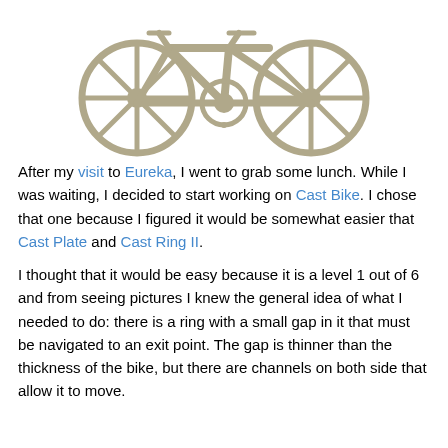[Figure (photo): A metallic cast puzzle in the shape of a bicycle with gear-like wheels, photographed on a white background.]
After my visit to Eureka, I went to grab some lunch. While I was waiting, I decided to start working on Cast Bike. I chose that one because I figured it would be somewhat easier that Cast Plate and Cast Ring II.
I thought that it would be easy because it is a level 1 out of 6 and from seeing pictures I knew the general idea of what I needed to do: there is a ring with a small gap in it that must be navigated to an exit point. The gap is thinner than the thickness of the bike, but there are channels on both side that allow it to move.